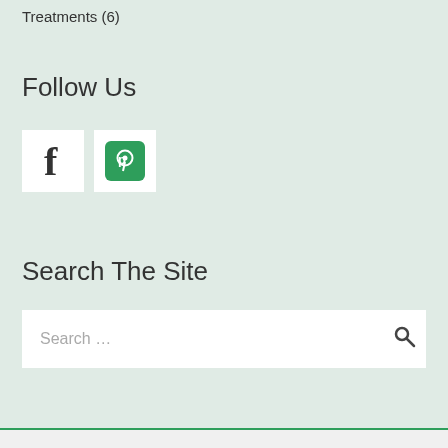Treatments (6)
Follow Us
[Figure (illustration): Facebook and Pinterest social media icon buttons on white square backgrounds]
Search The Site
Search …